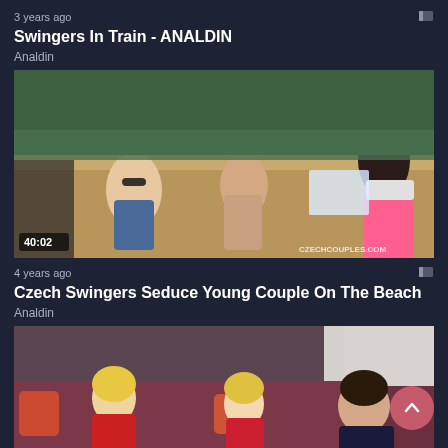3 years ago
Swingers In Train - ANALDIN
Analdin
[Figure (photo): Beach scene thumbnail with duration 40:02 and watermark CZECHCOUPLES.COM]
4 years ago
Czech Swingers Seduce Young Couple On The Beach
Analdin
[Figure (photo): Living room couch scene thumbnail showing people sitting on sofa]